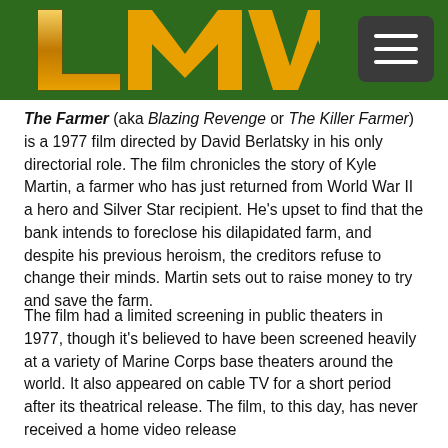LMW logo and navigation menu
The Farmer (aka Blazing Revenge or The Killer Farmer) is a 1977 film directed by David Berlatsky in his only directorial role. The film chronicles the story of Kyle Martin, a farmer who has just returned from World War II a hero and Silver Star recipient. He's upset to find that the bank intends to foreclose his dilapidated farm, and despite his previous heroism, the creditors refuse to change their minds. Martin sets out to raise money to try and save the farm.
The film had a limited screening in public theaters in 1977, though it's believed to have been screened heavily at a variety of Marine Corps base theaters around the world. It also appeared on cable TV for a short period after its theatrical release. The film, to this day, has never received a home video release